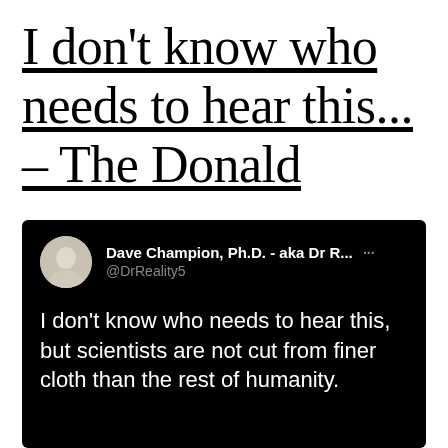I don't know who needs to hear this... – The Donald
[Figure (screenshot): Screenshot of a tweet by Dave Champion, Ph.D. - aka Dr R... (@DrReality5) on a black background. The tweet reads: 'I don't know who needs to hear this, but scientists are not cut from finer cloth than the rest of humanity.']